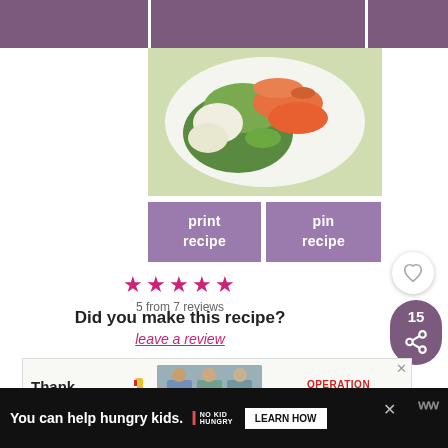[Figure (photo): Purple header bar at top of webpage]
[Figure (photo): Food photo showing a salad dish with greens and salmon/fish on a white plate]
print recipe
pin recipe
★★★★★
5 from 7 reviews
Did you make this recipe?
leave a review
[Figure (photo): Advertisement banner: Thank You with American flag pencil, healthcare workers, Operation Gratitude logo]
[Figure (photo): What's Next sidebar: Shrimp Egg Roll Thin &...]
[Figure (photo): Bottom advertisement bar: You can help hungry kids. No Kid Hungry. Learn How button.]